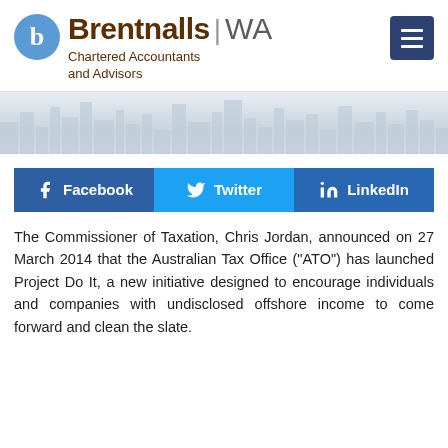[Figure (logo): Brentnalls WA logo with blue circle containing 'b' and brown text]
Chartered Accountants and Advisors
[Figure (illustration): City skyline silhouette banner in light grey/blue tones]
[Figure (infographic): Social share buttons: Facebook, Twitter, LinkedIn]
The Commissioner of Taxation, Chris Jordan, announced on 27 March 2014 that the Australian Tax Office ("ATO") has launched Project Do It, a new initiative designed to encourage individuals and companies with undisclosed offshore income to come forward and clean the slate.